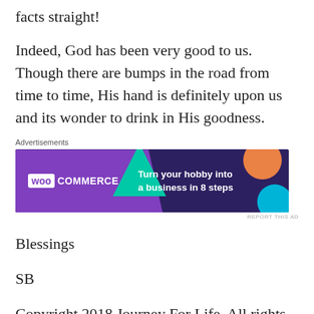facts straight!
Indeed, God has been very good to us. Though there are bumps in the road from time to time, His hand is definitely upon us and its wonder to drink in His goodness.
[Figure (other): WooCommerce advertisement banner: dark purple background with WooCommerce logo on left, green triangle and orange circle decorative shapes, text 'Turn your hobby into a business in 8 steps' in white, blue circle bottom right.]
Blessings
SB
Copyright 2018 Journey For Life. All rights